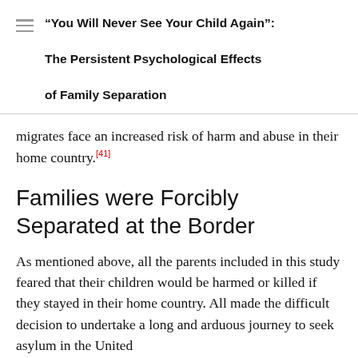“You Will Never See Your Child Again”: The Persistent Psychological Effects of Family Separation
migrates face an increased risk of harm and abuse in their home country.[41]
Families were Forcibly Separated at the Border
As mentioned above, all the parents included in this study feared that their children would be harmed or killed if they stayed in their home country. All made the difficult decision to undertake a long and arduous journey to seek asylum in the United